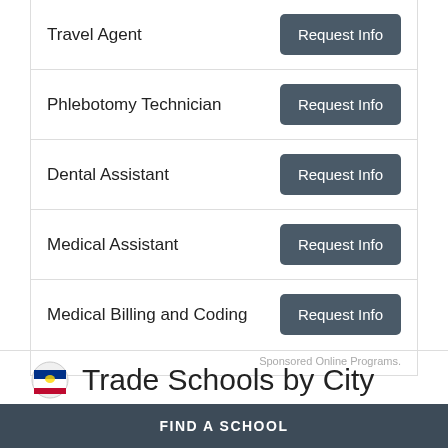Travel Agent
Phlebotomy Technician
Dental Assistant
Medical Assistant
Medical Billing and Coding
Sponsored Online Programs.
Trade Schools by City
FIND A SCHOOL